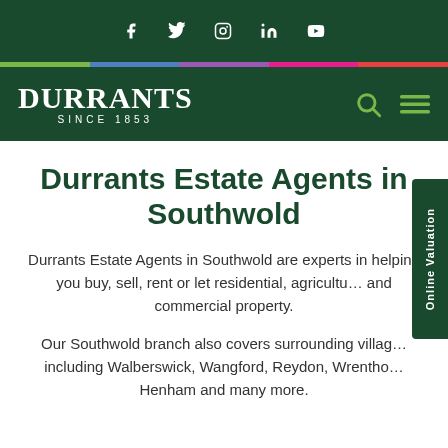Social media icons: Facebook, Twitter, Instagram, LinkedIn, YouTube
[Figure (logo): Durrants logo with text 'SINCE 1853' on dark green background, with search and menu icons]
Durrants Estate Agents in Southwold
Durrants Estate Agents in Southwold are experts in helping you buy, sell, rent or let residential, agricultural and commercial property.
Our Southwold branch also covers surrounding villages including Walberswick, Wangford, Reydon, Wrentham, Henham and many more.